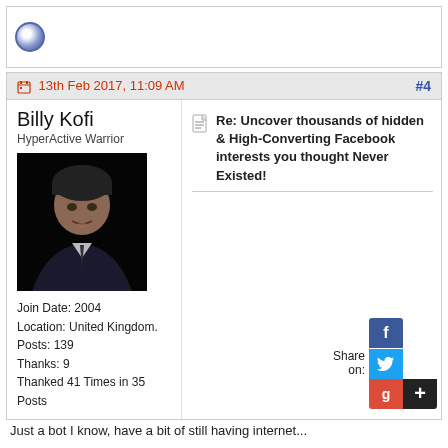[Figure (other): Blue circle/orb icon in top section header area]
13th Feb 2017, 11:09 AM
#4
Billy Kofi
HyperActive Warrior
[Figure (photo): Profile photo of Billy Kofi, man in suit against dark background]
Join Date: 2004
Location: United Kingdom.
Posts: 139
Thanks: 9
Thanked 41 Times in 35 Posts
Re: Uncover thousands of hidden & High-Converting Facebook interests you thought Never Existed!
Share on:
Just a bot I know, have a bit of still having internet...